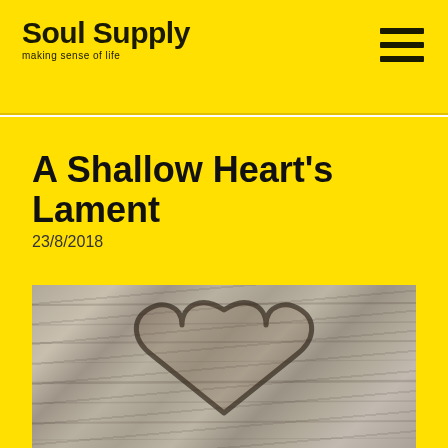Soul Supply
making sense of life
A Shallow Heart's Lament
23/8/2018
[Figure (photo): Close-up photograph of a heart shape carved or formed in tree bark, black and white tones with gray and brown textures]